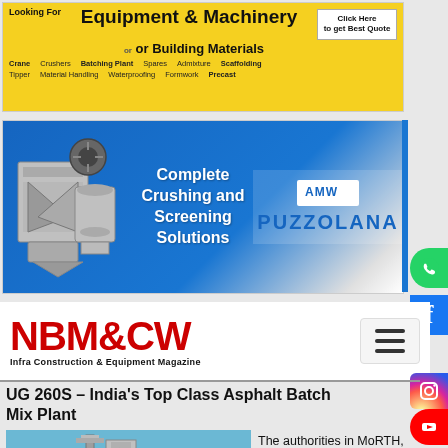[Figure (infographic): Yellow banner advertisement for construction equipment and building materials with text 'Looking For Equipment & Machinery or Building Materials' with various categories listed such as Crane, Crushers, Batching Plant, Tipper, Material Handling, Spares, Waterproofing, Admixture, Formwork, Scaffolding, Precast, and a white box saying 'Click Here to get Best Quote']
[Figure (infographic): Blue banner advertisement for Puzzolana showing crusher equipment on the left, text 'Complete Crushing and Screening Solutions' in center, and PUZZOLANA brand name and logo on the right]
[Figure (logo): NBM&CW logo in red bold letters with tagline 'Infra Construction & Equipment Magazine' and hamburger menu icon on the right]
UG 260S – India's Top Class Asphalt Batch Mix Plant
[Figure (photo): Photo of an Asphalt Batch Mix Plant industrial machinery against blue sky]
The authorities in MoRTH, NHAI and other Government